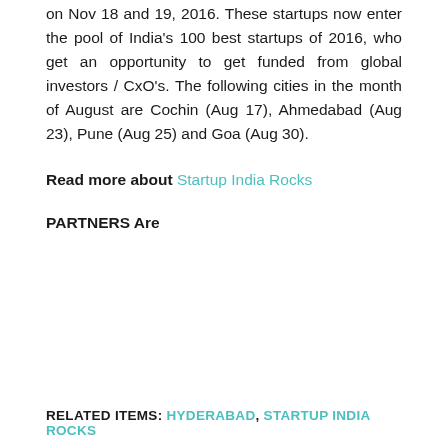on Nov 18 and 19, 2016. These startups now enter the pool of India's 100 best startups of 2016, who get an opportunity to get funded from global investors / CxO's. The following cities in the month of August are Cochin (Aug 17), Ahmedabad (Aug 23), Pune (Aug 25) and Goa (Aug 30).
Read more about Startup India Rocks
PARTNERS Are
RELATED ITEMS: HYDERABAD, STARTUP INDIA ROCKS